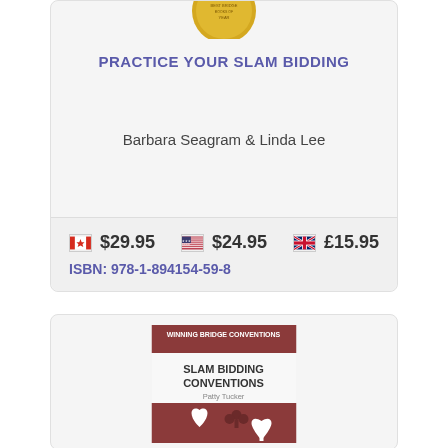PRACTICE YOUR SLAM BIDDING
Barbara Seagram & Linda Lee
$29.95   $24.95   £15.95
ISBN: 978-1-894154-59-8
[Figure (photo): Book cover for Slam Bidding Conventions by Patty Tucker, Winning Bridge Conventions series, with brown/mauve cover showing card suit symbols]
SLAM BIDDING CONVENTIONS
Patty Tucker